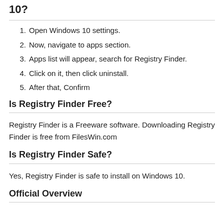10?
1. Open Windows 10 settings.
2. Now, navigate to apps section.
3. Apps list will appear, search for Registry Finder.
4. Click on it, then click uninstall.
5. After that, Confirm
Is Registry Finder Free?
Registry Finder is a Freeware software. Downloading Registry Finder is free from FilesWin.com
Is Registry Finder Safe?
Yes, Registry Finder is safe to install on Windows 10.
Official Overview